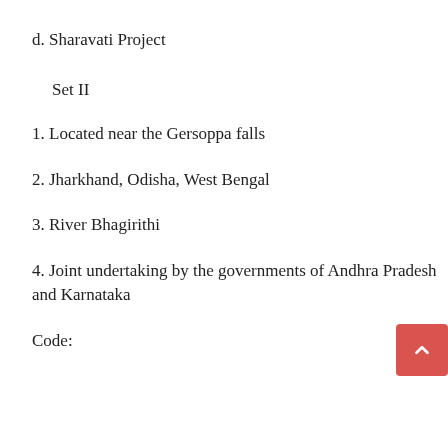d. Sharavati Project
Set II
1. Located near the Gersoppa falls
2. Jharkhand, Odisha, West Bengal
3. River Bhagirithi
4. Joint undertaking by the governments of Andhra Pradesh and Karnataka
Code: